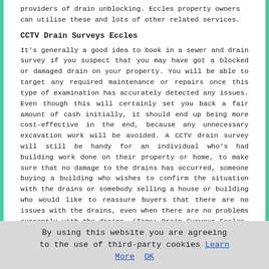providers of drain unblocking. Eccles property owners can utilise these and lots of other related services.
CCTV Drain Surveys Eccles
It's generally a good idea to book in a sewer and drain survey if you suspect that you may have got a blocked or damaged drain on your property. You will be able to target any required maintenance or repairs once this type of examination has accurately detected any issues. Even though this will certainly set you back a fair amount of cash initially, it should end up being more cost-effective in the end, because any unnecessary excavation work will be avoided. A CCTV drain survey will still be handy for an individual who's had building work done on their property or home, to make sure that no damage to the drains has occurred, someone buying a building who wishes to confirm the situation with the drains or somebody selling a house or building who would like to reassure buyers that there are no issues with the drains, even when there are no problems currently with the drains. (Tags: Drain Surveys Eccles, Drain Inspections Eccles, CCTV Drain Inspections Eccles)
By using this website you are agreeing to the use of third-party cookies Learn More OK